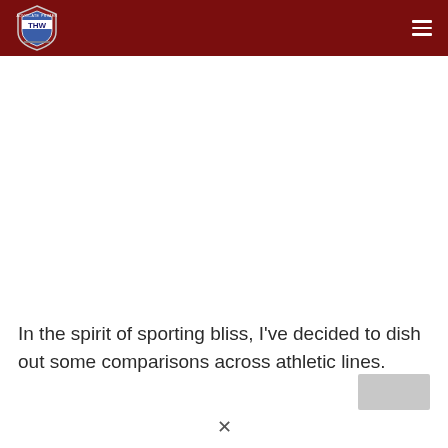THW logo and navigation
[Figure (logo): THW shield logo with text 'ADVOCATE PRIMER' around it, blue and white shield with THW letters]
In the spirit of sporting bliss, I've decided to dish out some comparisons across athletic lines.